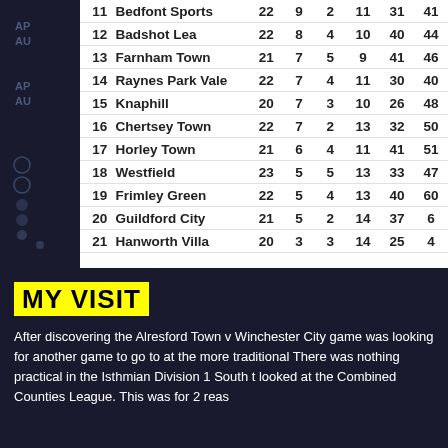| # | Team | P | W | D | L | F | A |
| --- | --- | --- | --- | --- | --- | --- | --- |
| 11 | Bedfont Sports | 22 | 9 | 2 | 11 | 31 | 41+ |
| 12 | Badshot Lea | 22 | 8 | 4 | 10 | 40 | 44+ |
| 13 | Farnham Town | 21 | 7 | 5 | 9 | 41 | 46+ |
| 14 | Raynes Park Vale | 22 | 7 | 4 | 11 | 30 | 40+ |
| 15 | Knaphill | 20 | 7 | 3 | 10 | 26 | 48+ |
| 16 | Chertsey Town | 22 | 7 | 2 | 13 | 32 | 50+ |
| 17 | Horley Town | 21 | 6 | 4 | 11 | 41 | 51+ |
| 18 | Westfield | 23 | 5 | 5 | 13 | 33 | 47+ |
| 19 | Frimley Green | 22 | 5 | 4 | 13 | 40 | 60+ |
| 20 | Guildford City | 21 | 5 | 2 | 14 | 37 | 6+ |
| 21 | Hanworth Villa | 20 | 3 | 3 | 14 | 25 | 4+ |
MY VISIT
After discovering the Alresford Town v Winchester City game was looking for another game to go to at the more traditional There was nothing practical in the Isthmian Division 1 South t looked at the Combined Counties League. This was for 2 reas